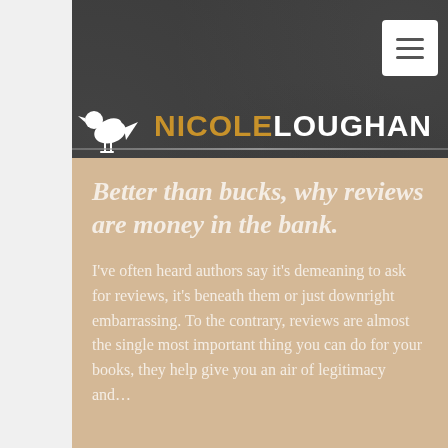NICOLELOUGHAN
Better than bucks, why reviews are money in the bank.
I've often heard authors say it's demeaning to ask for reviews, it's beneath them or just downright embarrassing. To the contrary, reviews are almost the single most important thing you can do for your books, they help give you an air of legitimacy and...